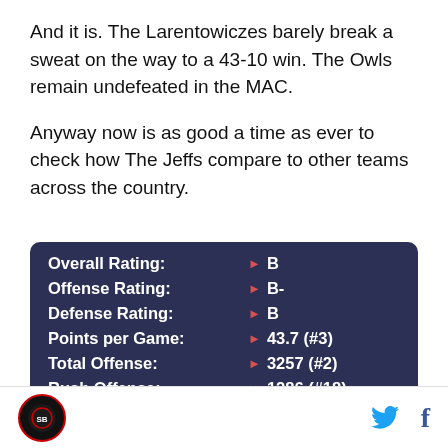And it is. The Larentowiczes barely break a sweat on the way to a 43-10 win. The Owls remain undefeated in the MAC.
Anyway now is as good a time as ever to check how The Jeffs compare to other teams across the country.
[Figure (screenshot): Dark blue statistics panel showing Overall Rating: B, Offense Rating: B-, Defense Rating: B, Points per Game: 43.7 (#3), Total Offense: 3257 (#2), Rush Offense: 1286 (#18), each with a red arrow indicator]